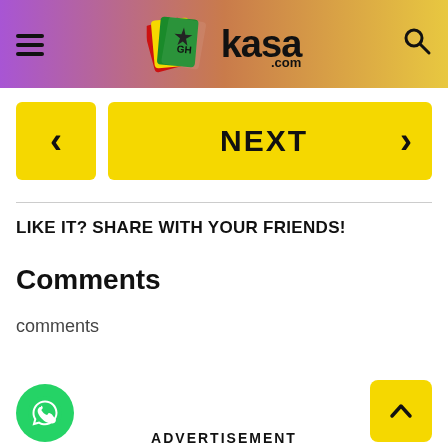GHkasa.com
[Figure (logo): GHkasa.com website logo with colorful Ghana-themed icon, hamburger menu icon on left, search icon on right]
[Figure (other): Navigation buttons: left arrow (previous) and NEXT button with right arrow, both in yellow]
LIKE IT? SHARE WITH YOUR FRIENDS!
Comments
comments
[Figure (other): WhatsApp floating button (green circle) on bottom left and scroll-to-top button (yellow square with up arrow) on bottom right]
ADVERTISEMENT